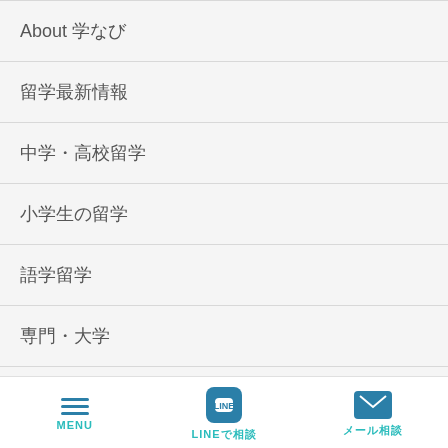About 学なび
留学最新情報
中学・高校留学
小学生の留学
語学留学
専門・大学
オンラインコース
【無料】留学相談
MENU　LINEで相談　メール相談